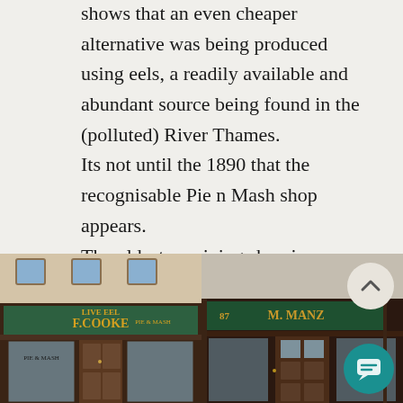shows that an even cheaper alternative was being produced using eels, a readily available and abundant source being found in the (polluted) River Thames. Its not until the 1890 that the recognisable Pie n Mash shop appears. The oldest surviving shop is M.Manze's in Tower Bridge Road opened in 1892. Manze's opened several shops in London, as did another pie family, Cooke's.
[Figure (photo): Two side-by-side photos of pie and mash shop fronts: F.Cooke on the left and M.Manze (number 87) on the right, both with green signage and dark wood shopfronts.]